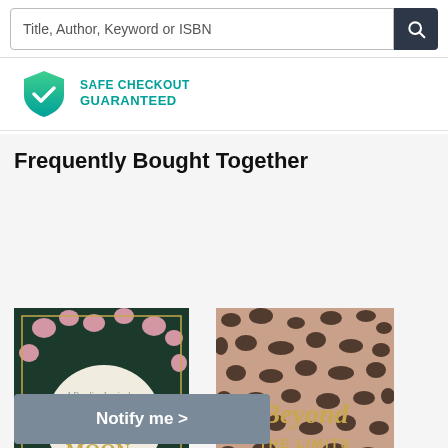Title, Author, Keyword or ISBN
[Figure (screenshot): Safe Checkout Guaranteed badge with green shield icon and teal text]
Frequently Bought Together
[Figure (photo): Book cover: Daughter of the Moon Goddess by Sue Lynn Tan, dark green background with pink flowers and moon]
[Figure (photo): Book cover: Beyond the Limits, leopard print background in pink/brown tones with gold script text]
Notify me >